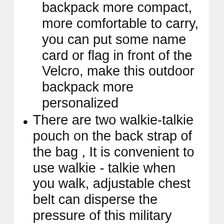backpack more compact, more comfortable to carry, you can put some name card or flag in front of the Velcro, make this outdoor backpack more personalized
There are two walkie-talkie pouch on the back strap of the bag , It is convenient to use walkie - talkie when you walk, adjustable chest belt can disperse the pressure of this military backpack, carrying more comfortable, and adjustable belt, let the whole tactical backpack fit our body, additional straps around the chest and waist to distribute the weight better.
This is an expandable backpack, which can be expanded by zipper on